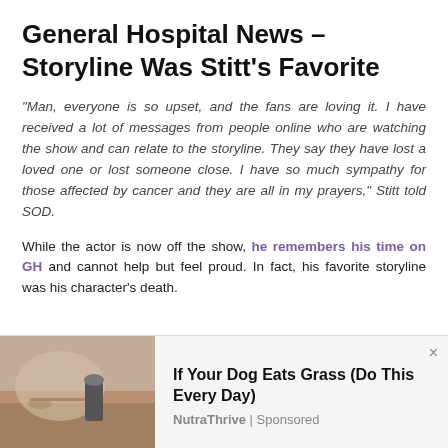General Hospital News – Storyline Was Stitt's Favorite
“Man, everyone is so upset, and the fans are loving it. I have received a lot of messages from people online who are watching the show and can relate to the storyline. They say they have lost a loved one or lost someone close. I have so much sympathy for those affected by cancer and they are all in my prayers,” Stitt told SOD.
While the actor is now off the show, he remembers his time on GH and cannot help but feel proud. In fact, his favorite storyline was his character’s death.
[Figure (photo): Advertisement image showing a dog or animal in an outdoor setting with soil and a bottle]
If Your Dog Eats Grass (Do This Every Day)
NutraThrive | Sponsored